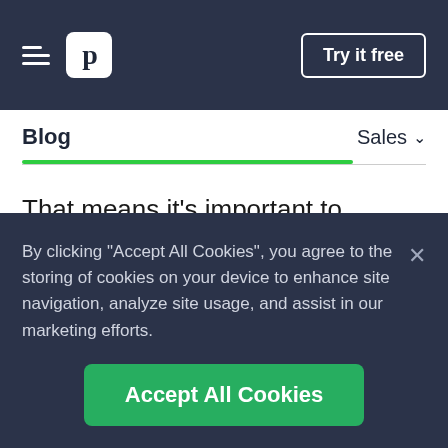p | Try it free
Blog | Sales
That means it’s important to customize your CRM to reflect your sales process. There’s no point in working on your buyer journey or researching information about prospects if your CRM can’t
By clicking “Accept All Cookies”, you agree to the storing of cookies on your device to enhance site navigation, analyze site usage, and assist in our marketing efforts.
Accept All Cookies